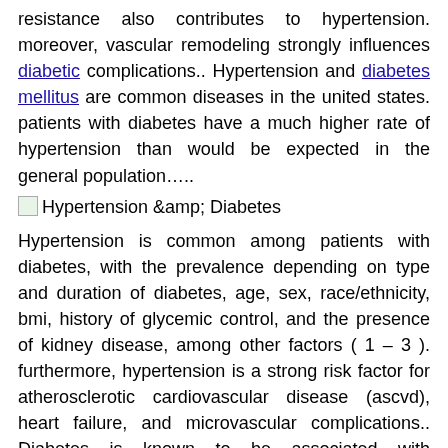resistance also contributes to hypertension. moreover, vascular remodeling strongly influences diabetic complications.. Hypertension and diabetes mellitus are common diseases in the united states. patients with diabetes have a much higher rate of hypertension than would be expected in the general population…..
[Figure (illustration): Small broken image icon placeholder labeled 'Hypertension &amp; Diabetes']
Hypertension is common among patients with diabetes, with the prevalence depending on type and duration of diabetes, age, sex, race/ethnicity, bmi, history of glycemic control, and the presence of kidney disease, among other factors ( 1 – 3 ). furthermore, hypertension is a strong risk factor for atherosclerotic cardiovascular disease (ascvd), heart failure, and microvascular complications.. Diabetes is known to be associated with hypertension. the presence of one increases the risk of having the other. this close relationship between diabetes and hypertension suggests a possible common genetic or pathophysiological process or both. hypertension